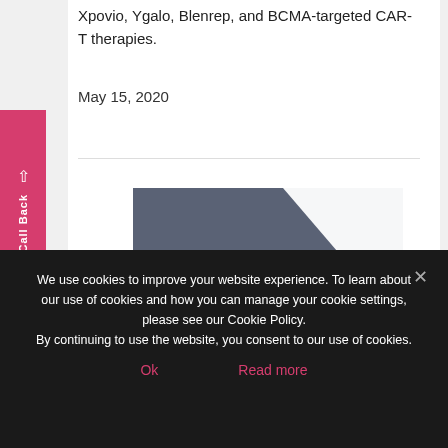Xpovio, Ygalo, Blenrep, and BCMA-targeted CAR-T therapies.
May 15, 2020
[Figure (infographic): A card graphic with a dark slate/grey background with a purple geometric triangle shape. Text reads: Topic: Multiple Myeloma. Physician Information. Specialty: Hematologic Oncology. Location: UK.]
We use cookies to improve your website experience. To learn about our use of cookies and how you can manage your cookie settings, please see our Cookie Policy. By continuing to use the website, you consent to our use of cookies.
Ok
Read more